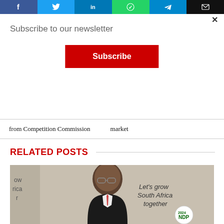[Figure (other): Social media share buttons bar: Facebook (blue), Twitter (blue), LinkedIn (blue), WhatsApp (green), Telegram (blue), Email (black)]
Subscribe to our newsletter
Subscribe
from Competition Commission   market
RELATED POSTS
[Figure (photo): Photo of a man wearing glasses and a suit, speaking at a podium. Background shows text 'Let's grow South Africa together' and NDP logo.]